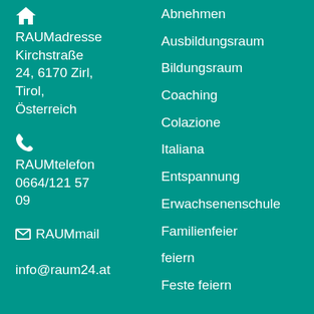[Figure (illustration): House icon (home symbol) in white]
RAUMadresse
Kirchstraße 24, 6170 Zirl, Tirol, Österreich
[Figure (illustration): Phone/telephone icon in white]
RAUMtelefon
0664/121 57 09
RAUMmail
info@raum24.at
Abnehmen
Ausbildungsraum
Bildungsraum
Coaching
Colazione
Italiana
Entspannung
Erwachsenenschule
Familienfeier
feiern
Feste feiern